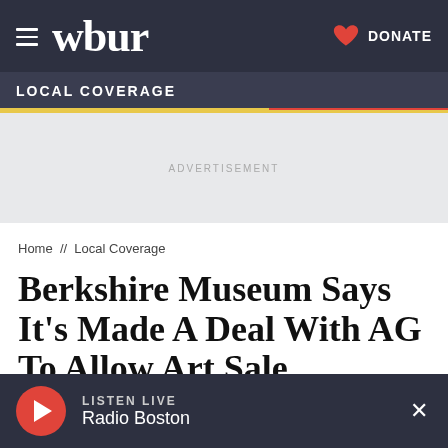wbur  DONATE
LOCAL COVERAGE
ADVERTISEMENT
Home // Local Coverage
Berkshire Museum Says It's Made A Deal With AG To Allow Art Sale
LISTEN LIVE  Radio Boston